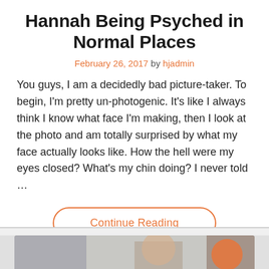Hannah Being Psyched in Normal Places
February 26, 2017 by hjadmin
You guys, I am a decidedly bad picture-taker. To begin, I'm pretty un-photogenic. It's like I always think I know what face I'm making, then I look at the photo and am totally surprised by what my face actually looks like. How the hell were my eyes closed? What's my chin doing? I never told …
Continue Reading
[Figure (photo): Partial bottom strip showing a photo of a person, partially cropped at the bottom of the page.]